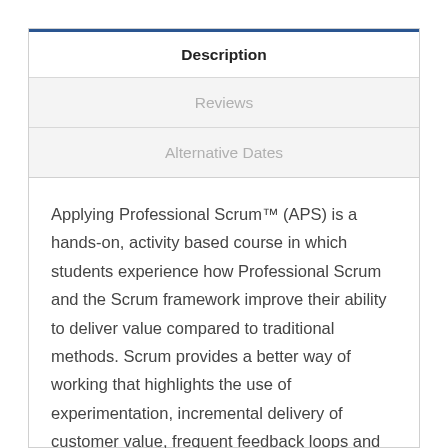Description
Reviews
Alternative Dates
Applying Professional Scrum™ (APS) is a hands-on, activity based course in which students experience how Professional Scrum and the Scrum framework improve their ability to deliver value compared to traditional methods. Scrum provides a better way of working that highlights the use of experimentation, incremental delivery of customer value, frequent feedback loops and the fostering of strong team dynamics.